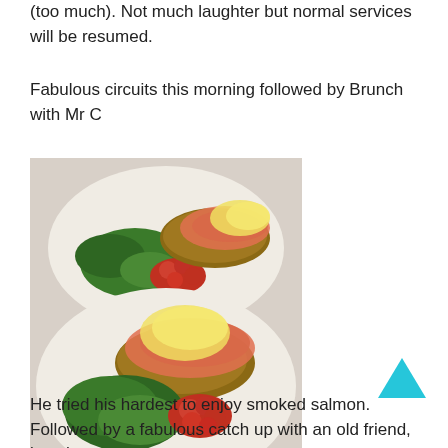(too much). Not much laughter but normal services will be resumed.
Fabulous circuits this morning followed by Brunch with Mr C
[Figure (photo): Two white plates each containing smoked salmon on toast/bread with scrambled eggs, cherry tomatoes, and green salad leaves, photographed from above on a light countertop.]
He tried his hardest to enjoy smoked salmon.  Followed by a fabulous catch up with an old friend, just the